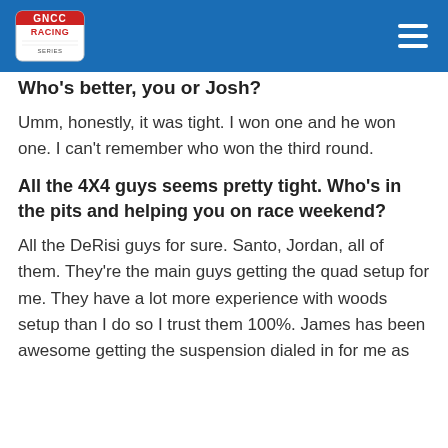GNCC Racing
Who's better, you or Josh?
Umm, honestly, it was tight. I won one and he won one. I can't remember who won the third round.
All the 4X4 guys seems pretty tight. Who's in the pits and helping you on race weekend?
All the DeRisi guys for sure. Santo, Jordan, all of them. They're the main guys getting the quad setup for me. They have a lot more experience with woods setup than I do so I trust them 100%. James has been awesome getting the suspension dialed in for me as